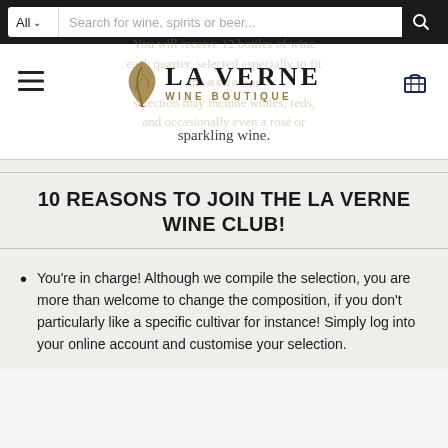All ∨  Search for wine, spirits or beer...  🔍
[Figure (logo): La Verne Wine Boutique logo with leaf icon]
You will receive 12 bottles of wine each quarter, selected especially to fit the ... our selection may include whites, reds, and occasionally even a rosé or sparkling wine.
10 REASONS TO JOIN THE LA VERNE WINE CLUB!
You're in charge! Although we compile the selection, you are more than welcome to change the composition, if you don't particularly like a specific cultivar for instance! Simply log into your online account and customise your selection.